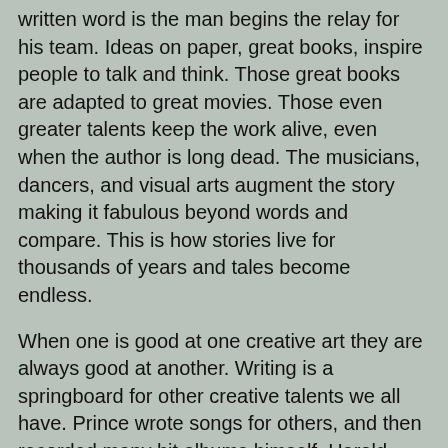written word is the man begins the relay for his team. Ideas on paper, great books, inspire people to talk and think. Those great books are adapted to great movies. Those even greater talents keep the work alive, even when the author is long dead. The musicians, dancers, and visual arts augment the story making it fabulous beyond words and compare. This is how stories live for thousands of years and tales become endless.
When one is good at one creative art they are always good at another. Writing is a springboard for other creative talents we all have. Prince wrote songs for others, and then recorded many hit albums himself. Harold Ramis was Egon Spengler, but more also helped write the script for Ghostbusters as did Dan Ackroyd. Writing allows me to perform my own work onstage, sing my own songs, and be whoever I want to be because my imagination is my own unique original creation from heaven.
That is, until I accidentally cut my finger on the paper